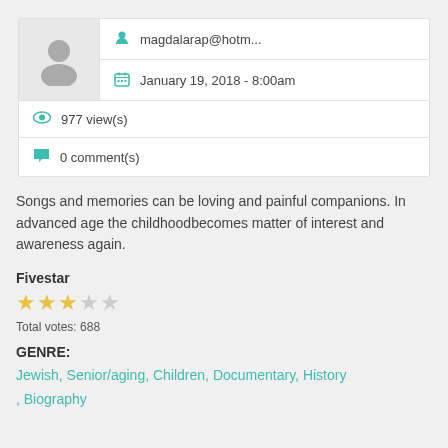magdalarap@hotm...
January 19, 2018 - 8:00am
977 view(s)
0 comment(s)
Songs and memories can be loving and painful companions. In advanced age the childhoodbecomes matter of interest and awareness again.
Fivestar
Total votes: 688
GENRE:
Jewish, Senior/aging, Children, Documentary, History , Biography